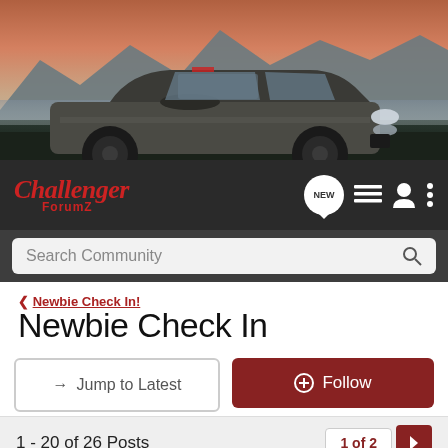[Figure (photo): Dodge Challenger muscle car on road with mountain and sunset background]
[Figure (logo): Challenger ForumZ logo in red italic script with navigation icons including NEW speech bubble, list icon, user icon, and menu dots]
Search Community
< Newbie Check In!
Newbie Check In
→ Jump to Latest
+ Follow
1 - 20 of 26 Posts
1 of 2
SloppyJoe · Registered